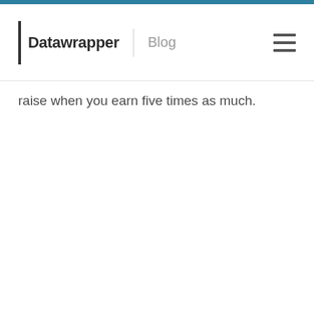Datawrapper | Blog
raise when you earn five times as much.